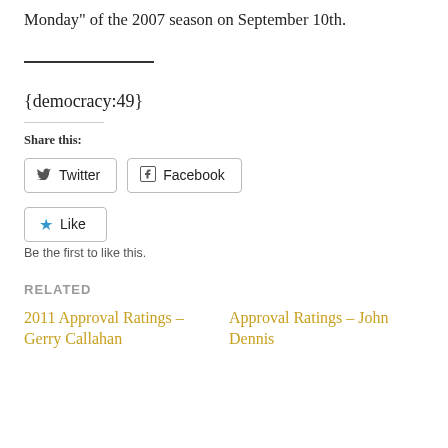Monday” of the 2007 season on September 10th.
{democracy:49}
Share this:
Twitter
Facebook
Like
Be the first to like this.
RELATED
2011 Approval Ratings – Gerry Callahan
Approval Ratings – John Dennis